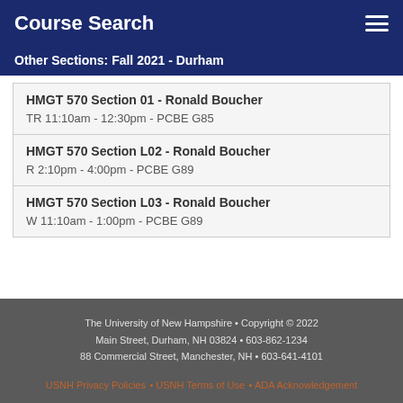Course Search
Other Sections: Fall 2021 - Durham
HMGT 570 Section 01 - Ronald Boucher
TR 11:10am - 12:30pm - PCBE G85
HMGT 570 Section L02 - Ronald Boucher
R 2:10pm - 4:00pm - PCBE G89
HMGT 570 Section L03 - Ronald Boucher
W 11:10am - 1:00pm - PCBE G89
The University of New Hampshire • Copyright © 2022
Main Street, Durham, NH 03824 • 603-862-1234
88 Commercial Street, Manchester, NH • 603-641-4101
USNH Privacy Policies • USNH Terms of Use • ADA Acknowledgement